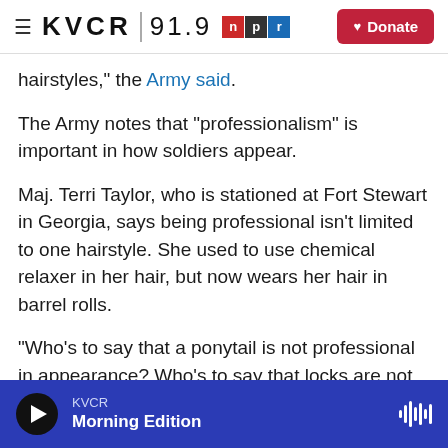KVCR 91.9 NPR — Donate
hairstyles," the Army said.
The Army notes that "professionalism" is important in how soldiers appear.
Maj. Terri Taylor, who is stationed at Fort Stewart in Georgia, says being professional isn't limited to one hairstyle. She used to use chemical relaxer in her hair, but now wears her hair in barrel rolls.
"Who's to say that a ponytail is not professional in appearance? Who's to say that locks are not professional in appearance? As long as you can
KVCR Morning Edition